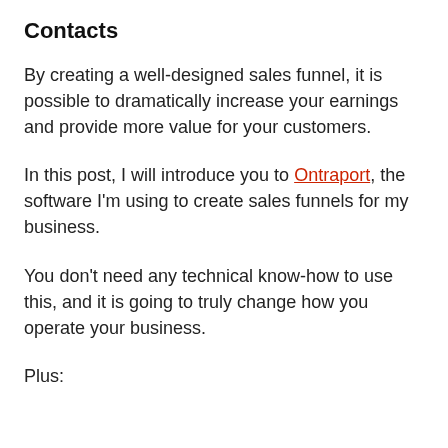Contacts
By creating a well-designed sales funnel, it is possible to dramatically increase your earnings and provide more value for your customers.
In this post, I will introduce you to Ontraport, the software I'm using to create sales funnels for my business.
You don’t need any technical know-how to use this, and it is going to truly change how you operate your business.
Plus: